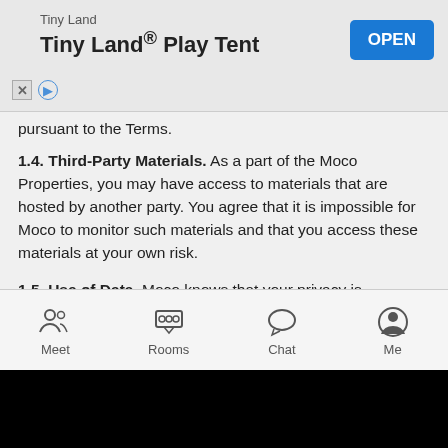[Figure (screenshot): Advertisement banner for Tiny Land® Play Tent with OPEN button]
pursuant to the Terms.
1.4. Third-Party Materials. As a part of the Moco Properties, you may have access to materials that are hosted by another party. You agree that it is impossible for Moco to monitor such materials and that you access these materials at your own risk.
1.5. Use of Data. Moco knows that your privacy is important. For this reason, we have created a privacy policy that describes our collection, use and disclosure practices regarding any personal information that you provide to us. Our privacy policy is available at https://www.mocospace.com/link/privacy.jsp.
2. Registration and Eligibility.
2.1. Registering as a Member. In order to access certain features of the Services, you may be required to become a Member. For purposes of the Terms, a "Member" is a user who has registered an account on the Website or the App ("Account"), has a valid social
[Figure (screenshot): Bottom navigation bar with Meet, Rooms, Chat, Me icons]